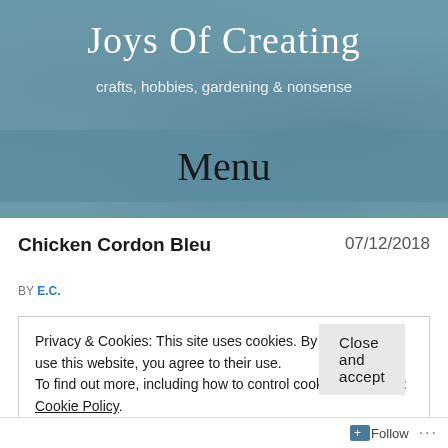Joys Of Creating
crafts, hobbies, gardening & nonsense
Menu
Chicken Cordon Bleu   07/12/2018
BY E.C.
Privacy & Cookies: This site uses cookies. By continuing to use this website, you agree to their use.
To find out more, including how to control cookies, see here: Cookie Policy.
Close and accept